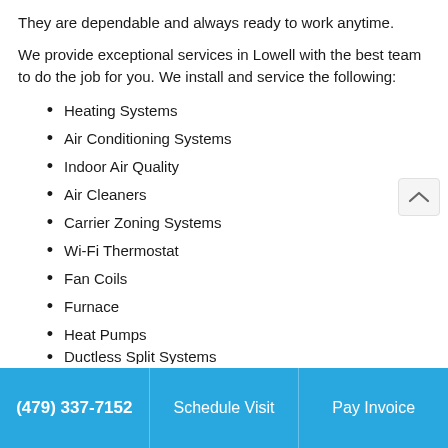They are dependable and always ready to work anytime.
We provide exceptional services in Lowell with the best team to do the job for you. We install and service the following:
Heating Systems
Air Conditioning Systems
Indoor Air Quality
Air Cleaners
Carrier Zoning Systems
Wi-Fi Thermostat
Fan Coils
Furnace
Heat Pumps
Ductless Split Systems
(479) 337-7152  Schedule Visit  Pay Invoice